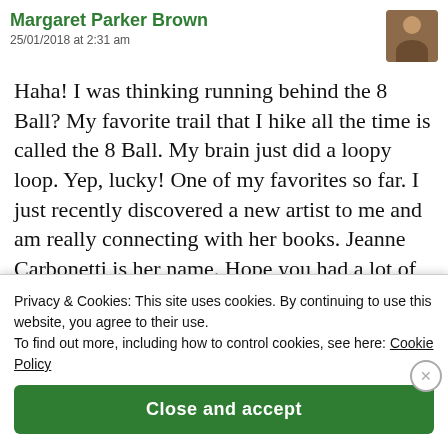Margaret Parker Brown
25/01/2018 at 2:31 am
Haha! I was thinking running behind the 8 Ball? My favorite trail that I hike all the time is called the 8 Ball. My brain just did a loopy loop. Yep, lucky! One of my favorites so far. I just recently discovered a new artist to me and am really connecting with her books. Jeanne Carbonetti is her name. Hope you had a lot of fun on your trip!
Privacy & Cookies: This site uses cookies. By continuing to use this website, you agree to their use.
To find out more, including how to control cookies, see here: Cookie Policy